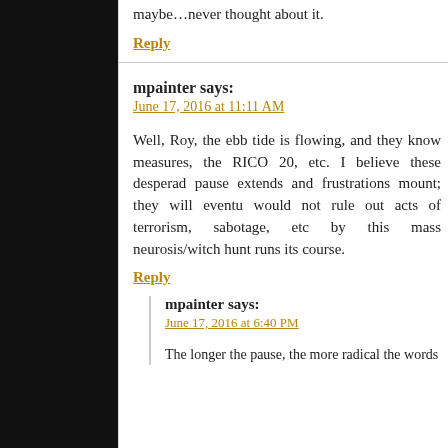maybe…never thought about it.
Reply
mpainter says:
June 17, 2016 at 11:11 AM
Well, Roy, the ebb tide is flowing, and they know measures, the RICO 20, etc. I believe these desperado pause extends and frustrations mount; they will eventu would not rule out acts of terrorism, sabotage, etc by this mass neurosis/witch hunt runs its course.
Reply
mpainter says:
June 17, 2016 at 6:40 PM
The longer the pause, the more radical the words